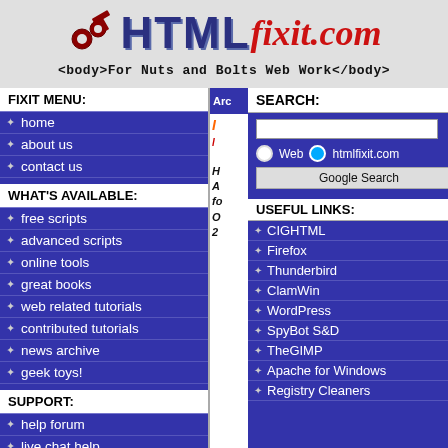[Figure (logo): HTMLfixit.com logo with gears and hammer icon, tagline '<body>For Nuts and Bolts Web Work</body>']
FIXIT MENU:
home
about us
contact us
WHAT'S AVAILABLE:
free scripts
advanced scripts
online tools
great books
web related tutorials
contributed tutorials
news archive
geek toys!
SUPPORT:
help forum
live chat help
SEARCH:
Web   htmlfixit.com
Google Search
USEFUL LINKS:
CIGHTML
Firefox
Thunderbird
ClamWin
WordPress
SpyBot S&D
TheGIMP
Apache for Windows
Registry Cleaners